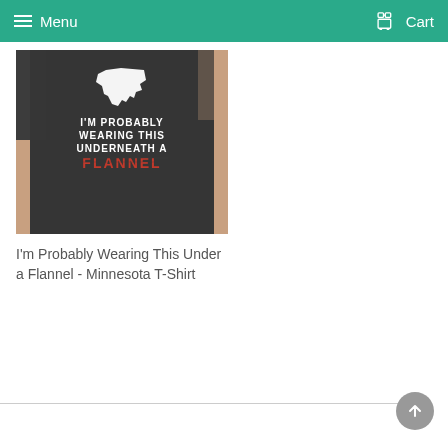Menu   Cart
[Figure (photo): Dark charcoal gray t-shirt worn by a person, printed with a white Minnesota state outline and text reading 'I'M PROBABLY WEARING THIS UNDERNEATH A FLANNEL' with FLANNEL in red distressed font]
I'm Probably Wearing This Under a Flannel - Minnesota T-Shirt